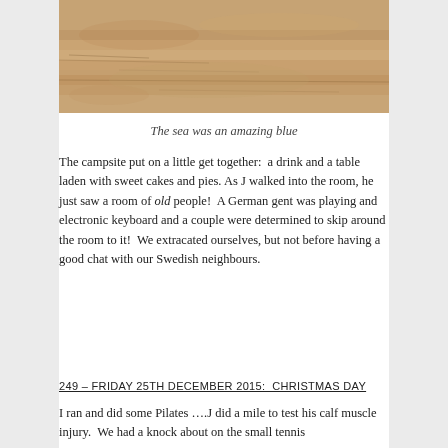[Figure (photo): Sandy desert or beach terrain, warm tan and brown tones, textured surface resembling sand or stone ground]
The sea was an amazing blue
The campsite put on a little get together:  a drink and a table laden with sweet cakes and pies. As J walked into the room, he just saw a room of old people!  A German gent was playing and electronic keyboard and a couple were determined to skip around the room to it!  We extracated ourselves, but not before having a good chat with our Swedish neighbours.
249 – FRIDAY 25TH DECEMBER 2015:  CHRISTMAS DAY
I ran and did some Pilates ….J did a mile to test his calf muscle injury.  We had a knock about on the small tennis